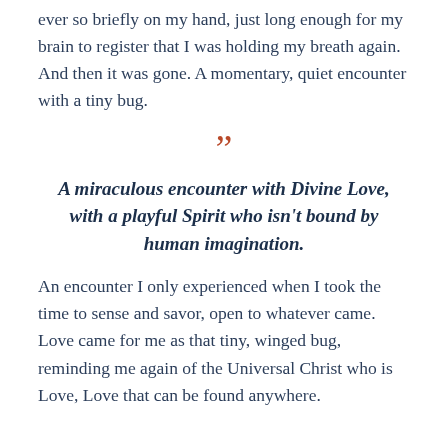ever so briefly on my hand, just long enough for my brain to register that I was holding my breath again. And then it was gone. A momentary, quiet encounter with a tiny bug.
”
A miraculous encounter with Divine Love, with a playful Spirit who isn’t bound by human imagination.
An encounter I only experienced when I took the time to sense and savor, open to whatever came. Love came for me as that tiny, winged bug, reminding me again of the Universal Christ who is Love, Love that can be found anywhere.